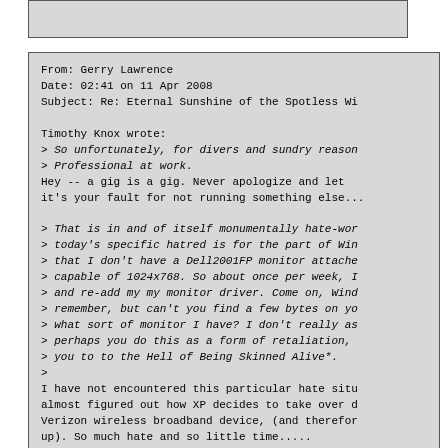From: Gerry Lawrence
Date: 02:41 on 11 Apr 2008
Subject: Re: Eternal Sunshine of the Spotless Wi

Timothy Knox wrote:
> So unfortunately, for divers and sundry reason
> Professional at work.
Hey -- a gig is a gig.   Never apologize and let
it's your fault for not running something else...

> That is in and of itself monumentally hate-wor
> today's specific hatred is for the part of Win
> that I don't have a Dell2001FP monitor attache
> capable of 1024x768. So about once per week, I
> and re-add my my monitor driver. Come on, Wind
> remember, but can't you find a few bytes on yo
> what sort of monitor I have? I don't really as
> perhaps you do this as a form of retaliation,
> you to to the Hell of Being Skinned Alive*.
>
I have not encountered this particular hate situ
almost figured out how XP decides to take over d
Verizon wireless broadband device, (and therefor
up).    So much hate and so little time.....